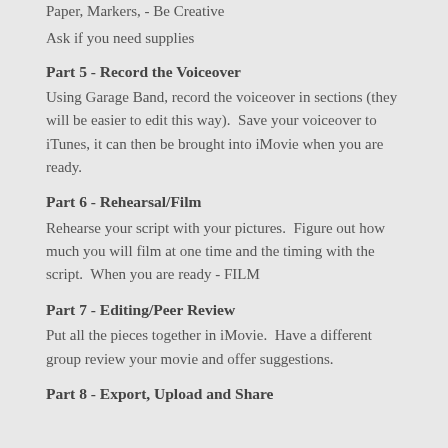Paper, Markers, - Be Creative
Ask if you need supplies
Part 5 - Record the Voiceover
Using Garage Band, record the voiceover in sections (they will be easier to edit this way).  Save your voiceover to iTunes, it can then be brought into iMovie when you are ready.
Part 6 - Rehearsal/Film
Rehearse your script with your pictures.  Figure out how much you will film at one time and the timing with the script.  When you are ready - FILM
Part 7 - Editing/Peer Review
Put all the pieces together in iMovie.  Have a different group review your movie and offer suggestions.
Part 8 - Export, Upload and Share